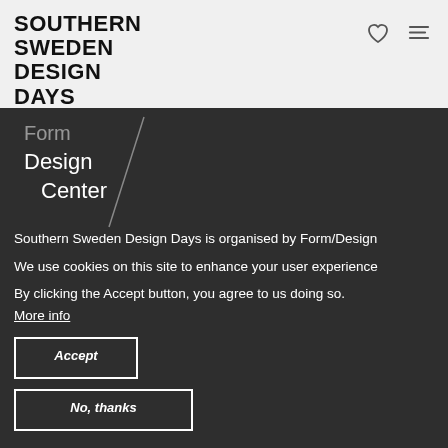SOUTHERN SWEDEN DESIGN DAYS
[Figure (logo): Form Design Center logo with slash]
Southern Sweden Design Days is organised by Form/Design
We use cookies on this site to enhance your user experience
By clicking the Accept button, you agree to us doing so. More info
Accept
No, thanks